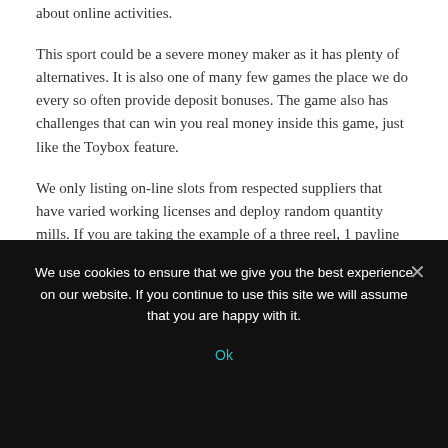about online activities.
This sport could be a severe money maker as it has plenty of alternatives. It is also one of many few games the place we do every so often provide deposit bonuses. The game also has challenges that can win you real money inside this game, just like the Toybox feature.
We only listing on-line slots from respected suppliers that have varied working licenses and deploy random quantity mills. If you are taking the example of a three reel, 1 payline slot, you can form a successful mixture by landing matching symbols throughout the single payline. Before
We use cookies to ensure that we give you the best experience on our website. If you continue to use this site we will assume that you are happy with it.
Ok